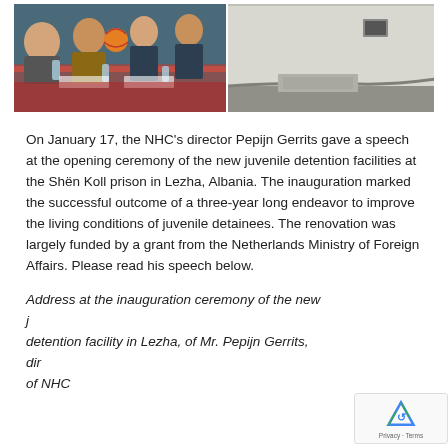[Figure (photo): Two side-by-side photos: left shows people sitting at a table at an event, one person holding an orange ball; right shows the exterior of a building with a concrete/gravel area.]
On January 17, the NHC’s director Pepijn Gerrits gave a speech at the opening ceremony of the new juvenile detention facilities at the Shën Koll prison in Lezha, Albania. The inauguration marked the successful outcome of a three-year long endeavor to improve the living conditions of juvenile detainees. The renovation was largely funded by a grant from the Netherlands Ministry of Foreign Affairs. Please read his speech below.
Address at the inauguration ceremony of the new juvenile detention facility in Lezha, of Mr. Pepijn Gerrits, director of NHC